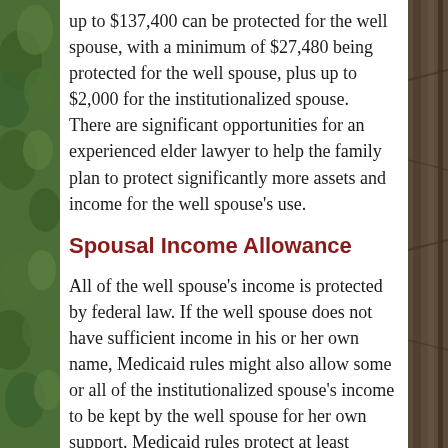up to $137,400 can be protected for the well spouse, with a minimum of $27,480 being protected for the well spouse, plus up to $2,000 for the institutionalized spouse. There are significant opportunities for an experienced elder lawyer to help the family plan to protect significantly more assets and income for the well spouse's use.
Spousal Income Allowance
All of the well spouse's income is protected by federal law. If the well spouse does not have sufficient income in his or her own name, Medicaid rules might also allow some or all of the institutionalized spouse's income to be kept by the well spouse for her own support. Medicaid rules protect at least $2,177 per month of spousal assets for the well spouse's use, and up to about $2,425 per month